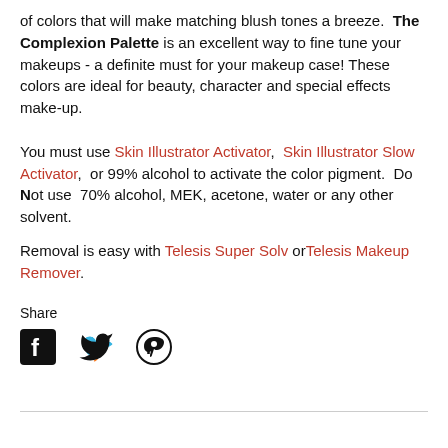of colors that will make matching blush tones a breeze. The Complexion Palette is an excellent way to fine tune your makeups - a definite must for your makeup case! These colors are ideal for beauty, character and special effects make-up.
You must use Skin Illustrator Activator, Skin Illustrator Slow Activator, or 99% alcohol to activate the color pigment. Do Not use 70% alcohol, MEK, acetone, water or any other solvent.
Removal is easy with Telesis Super Solv or Telesis Makeup Remover.
Share
[Figure (other): Social media share icons: Facebook, Twitter, Pinterest]